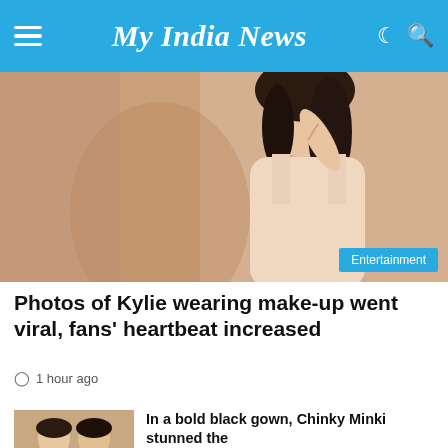My India News
[Figure (photo): A young woman applying lip gloss, wearing a white tank top, with dark wavy hair, photographed against a warm beige background with soft shadows. An 'Entertainment' category badge appears in the bottom right corner of the image.]
Photos of Kylie wearing make-up went viral, fans' heartbeat increased
1 hour ago
[Figure (photo): Thumbnail image of women in formal attire]
In a bold black gown, Chinky Minki stunned the